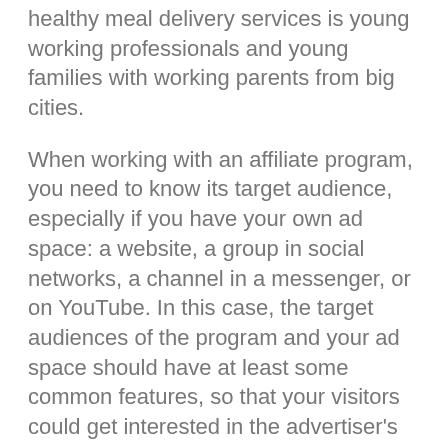healthy meal delivery services is young working professionals and young families with working parents from big cities.
When working with an affiliate program, you need to know its target audience, especially if you have your own ad space: a website, a group in social networks, a channel in a messenger, or on YouTube. In this case, the target audiences of the program and your ad space should have at least some common features, so that your visitors could get interested in the advertiser's product and buy it. For example, advertising building materials on a women's forum is unlikely to give any result.